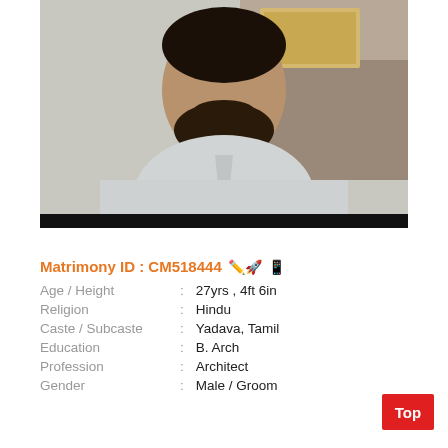[Figure (photo): Portrait photo of a heavyset man with beard wearing a light gray polo shirt, seated indoors with shelving visible in the background. A black bar appears at the bottom of the image.]
Matrimony ID : CM518444
Age / Height : 27yrs , 4ft 6in
Religion : Hindu
Caste / Subcaste : Yadava, Tamil
Education : B. Arch
Profession : Architect
Gender : Male / Groom